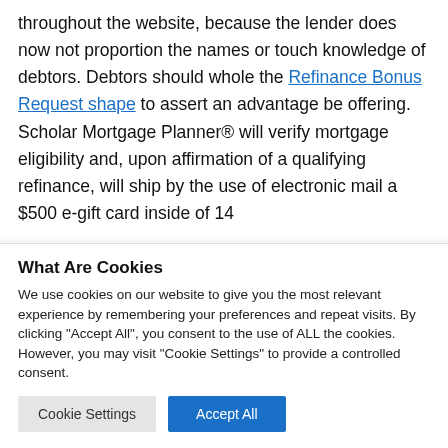throughout the website, because the lender does now not proportion the names or touch knowledge of debtors. Debtors should whole the Refinance Bonus Request shape to assert an advantage be offering. Scholar Mortgage Planner® will verify mortgage eligibility and, upon affirmation of a qualifying refinance, will ship by the use of electronic mail a $500 e-gift card inside of 14
What Are Cookies
We use cookies on our website to give you the most relevant experience by remembering your preferences and repeat visits. By clicking "Accept All", you consent to the use of ALL the cookies. However, you may visit "Cookie Settings" to provide a controlled consent.